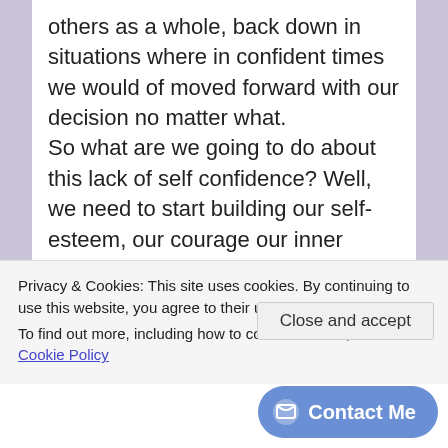others as a whole, back down in situations where in confident times we would of moved forward with our decision no matter what.

So what are we going to do about this lack of self confidence?  Well, we need to start building our self-esteem, our courage our inner strength.  How do we do this?  We need to start with eliminating bad habits, but that only works by replacing them with better habits.  Programming our mind with important data that informs our subconscious mind to start building better beliefs. We're
Privacy & Cookies: This site uses cookies. By continuing to use this website, you agree to their use.
To find out more, including how to control cookies, see here: Cookie Policy
Close and accept
Contact Me